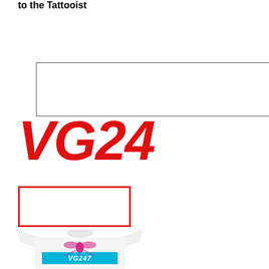to the Tattooist
[Figure (other): Empty bordered box at top of page]
[Figure (logo): VG247 logo in bold red italic letters]
[Figure (other): Empty red-bordered rectangle]
[Figure (illustration): White t-shirt with VG247 logo featuring a pink/magenta fly insect over a cyan blue banner]